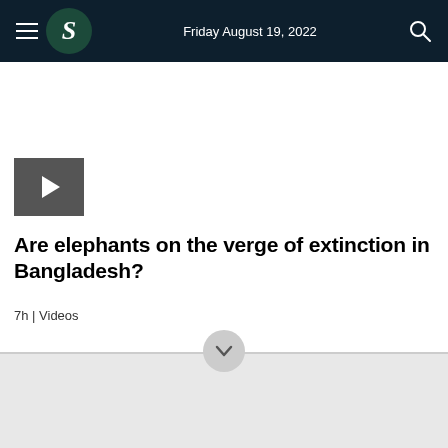Friday August 19, 2022
[Figure (other): Video thumbnail with play button icon]
Are elephants on the verge of extinction in Bangladesh?
7h | Videos